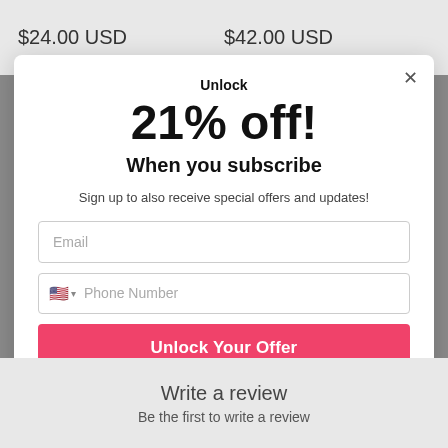$24.00 USD
$42.00 USD
Unlock
21% off!
When you subscribe
Sign up to also receive special offers and updates!
Email
Phone Number
Unlock Your Offer
By signing up, you agree to receive email & SMS marketing. Both email & phone number must be submitted to be eligible for prize money.
Lol, No thanks they call me money bags. 💰
Write a review
Be the first to write a review